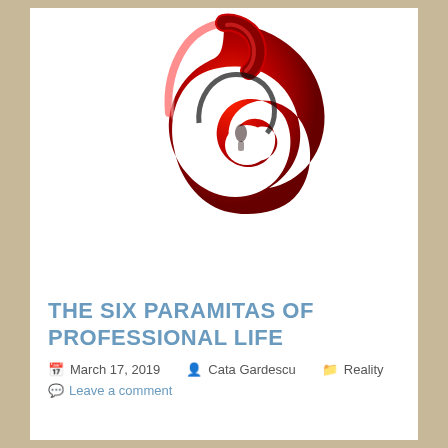[Figure (illustration): A stylized red and black swirling number '6' logo on white background]
THE SIX PARAMITAS OF PROFESSIONAL LIFE
March 17, 2019   Cata Gardescu   Reality
Leave a comment